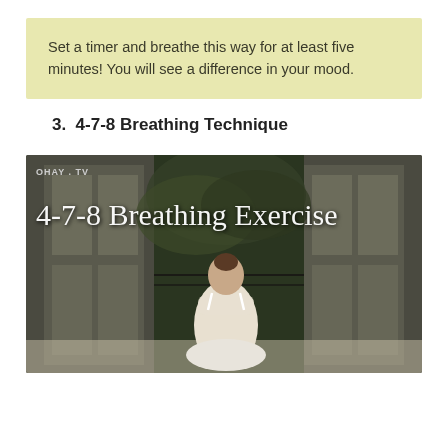Set a timer and breathe this way for at least five minutes! You will see a difference in your mood.
3.  4-7-8 Breathing Technique
[Figure (photo): A woman in white sitting cross-legged with her back to the camera, facing open French doors with greenery outside. Overlay text reads '4-7-8 Breathing Exercise' in cursive script. Watermark reads 'OHAY.TV' in top-left corner.]